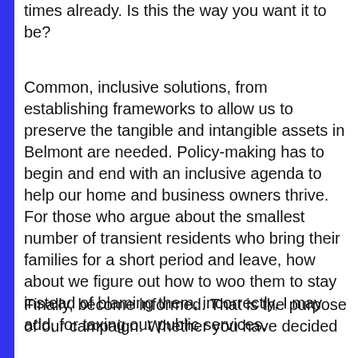times already. Is this the way you want it to be?
Common, inclusive solutions, from establishing frameworks to allow us to preserve the tangible and intangible assets in Belmont are needed. Policy-making has to begin and end with an inclusive agenda to help our home and business owners thrive. For those who argue about the smallest number of transient residents who bring their families for a short period and leave, how about we figure out how to woo them to stay instead of blaming them, incorrectly, I may add, for taxing our public services.
Finally, become informed. That is the purpose of our campaign. Whether you have decided